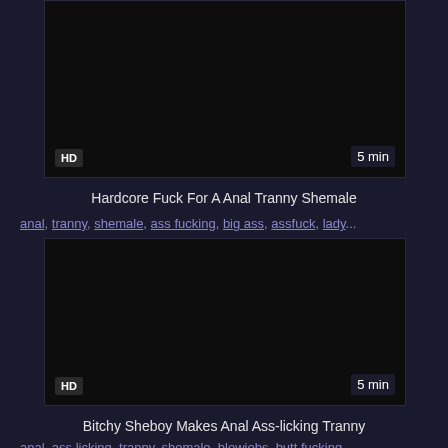[Figure (photo): Dark video thumbnail for adult content video with HD badge bottom-left and 5 min badge bottom-right]
Hardcore Fuck For A Anal Tranny Shemale
anal, tranny, shemale, ass fucking, big ass, assfuck, lady...
[Figure (photo): Dark video thumbnail for adult content video with HD badge bottom-left and 5 min badge bottom-right]
Bitchy Sheboy Makes Anal Ass-licking Tranny
anal, ass licking, tranny, shemale, blowjobs, butt fucking...